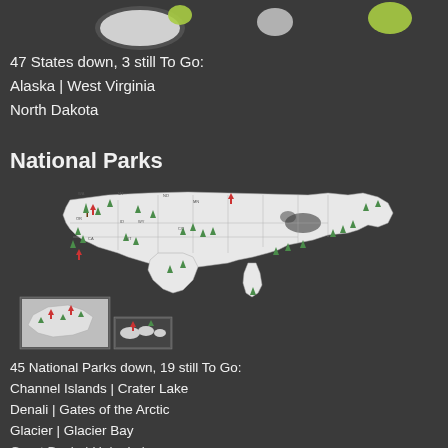[Figure (map): Partial US states map at top showing visited states highlighted in lime green, unvisited in dark]
47 States down, 3 still To Go:
Alaska | West Virginia
North Dakota
National Parks
[Figure (map): US National Parks map with red and green tree/pin markers indicating visited and unvisited parks, including insets for Alaska and Hawaii]
45 National Parks down, 19 still To Go:
Channel Islands | Crater Lake
Denali | Gates of the Arctic
Glacier | Glacier Bay
Great Basin | Haleakala